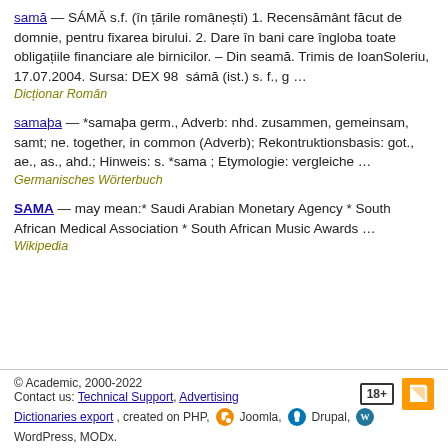samă — SÁMĂ s.f. (în țările românești) 1. Recensământ făcut de domnie, pentru fixarea birului. 2. Dare în bani care îngloba toate obligațiile financiare ale birnicilor. – Din seamă. Trimis de IoanSoleriu, 17.07.2004. Sursa: DEX 98  sámă (ist.) s. f., g …
Dicționar Român
samaþa — *samaþa germ., Adverb: nhd. zusammen, gemeinsam, samt; ne. together, in common (Adverb); Rekontruktionsbasis: got., ae., as., ahd.; Hinweis: s. *sama ; Etymologie: vergleiche …
Germanisches Wörterbuch
SAMA — may mean:* Saudi Arabian Monetary Agency * South African Medical Association * South African Music Awards …
Wikipedia
© Academic, 2000-2022
Contact us: Technical Support, Advertising
Dictionaries export, created on PHP, Joomla, Drupal, WordPress, MODx.